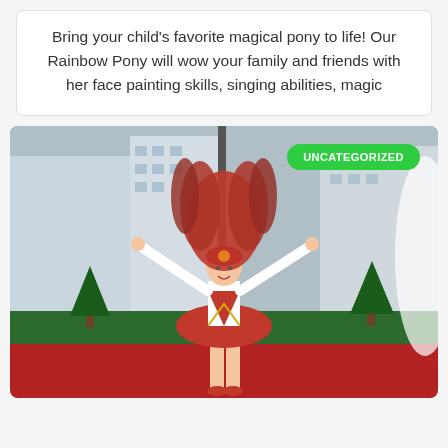Bring your child's favorite magical pony to life! Our Rainbow Pony will wow your family and friends with her face painting skills, singing abilities, magic
[Figure (photo): A performer in a red and white costume with a large red feathered headdress poses with arms raised on a red carpet outdoors in an urban setting with Christmas trees and city buildings in the background. An 'UNCATEGORIZED' green badge appears in the top right corner.]